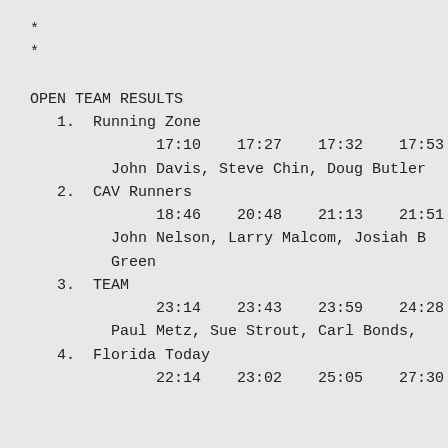*
*
OPEN TEAM RESULTS
1.  Running Zone
17:10    17:27    17:32    17:53
John Davis, Steve Chin, Doug Butler
2.  CAV Runners
18:46    20:48    21:13    21:51
John Nelson, Larry Malcom, Josiah B Green
3.  TEAM
23:14    23:43    23:59    24:28
Paul Metz, Sue Strout, Carl Bonds,
4.  Florida Today
22:14    23:02    25:05    27:30